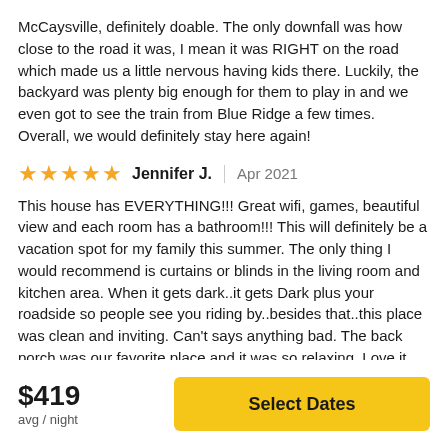McCaysville, definitely doable. The only downfall was how close to the road it was, I mean it was RIGHT on the road which made us a little nervous having kids there. Luckily, the backyard was plenty big enough for them to play in and we even got to see the train from Blue Ridge a few times. Overall, we would definitely stay here again!
Jennifer J. | Apr 2021
This house has EVERYTHING!!! Great wifi, games, beautiful view and each room has a bathroom!!! This will definitely be a vacation spot for my family this summer. The only thing I would recommend is curtains or blinds in the living room and kitchen area. When it gets dark..it gets Dark plus your roadside so people see you riding by..besides that..this place was clean and inviting. Can't says anything bad. The back porch was our favorite place and it was so relaxing. Love it here!!!!
$419 avg / night
Select Dates